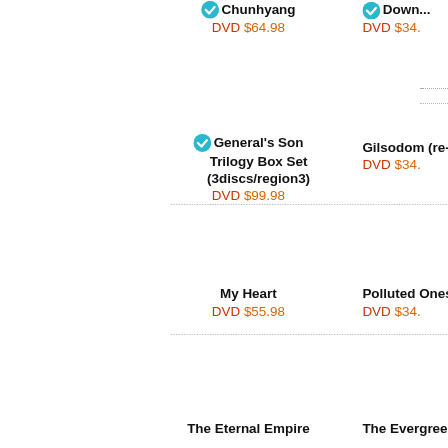Chunhyang DVD $64.98
Down... DVD $34.
General's Son Trilogy Box Set (3discs/region3) DVD $99.98
Gilsodom (re- DVD $34.
My Heart DVD $55.98
Polluted Ones ( DVD $34.
The Eternal Empire
The Evergree